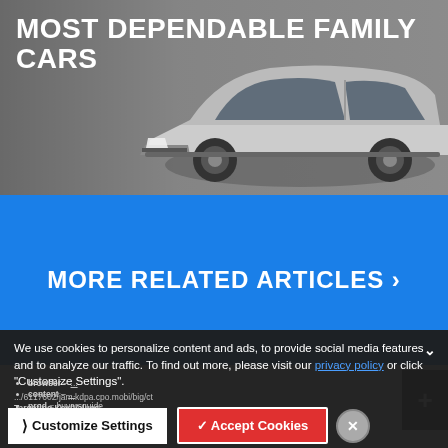[Figure (photo): Gray background with a silver sedan car partially visible on the right side. White bold text overlay reads 'MOST DEPENDABLE FAMILY CARS']
MOST DEPENDABLE FAMILY CARS
MORE RELATED ARTICLES ›
We use cookies to personalize content and ads, to provide social media features and to analyze our traffic. To find out more, please visit our privacy policy or click "Customize Settings".
Targeting Key/Values:
browser – ...
content – ...
prod = buyersguide